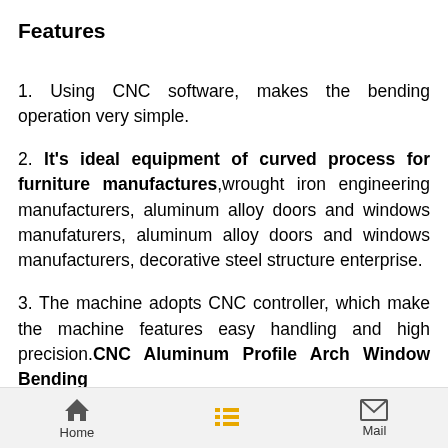Features
1. Using CNC software, makes the bending operation very simple.
2. It's ideal equipment of curved process for furniture manufactures,wrought iron engineering manufacturers, aluminum alloy doors and windows manufaturers, aluminum alloy doors and windows manufacturers, decorative steel structure enterprise.
3. The machine adopts CNC controller, which make the machine features easy handling and high precision.CNC Aluminum Profile Arch Window Bending
4. Can bend many shapes such as C shape, U shape, S shape, the whole circle and spring.
5. Capable of detecting material rebound data, eliminate
Home  Mail